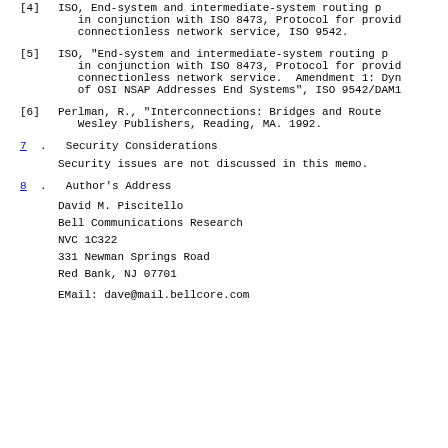[4] ISO, End-system and intermediate-system routing protocol to be used in conjunction with ISO 8473, Protocol for providing the connectionless network service, ISO 9542.
[5] ISO, "End-system and intermediate-system routing protocol to be used in conjunction with ISO 8473, Protocol for providing the connectionless network service. Amendment 1: Dynamic Discovery of OSI NSAP Addresses End Systems", ISO 9542/DAM1
[6] Perlman, R., "Interconnections: Bridges and Routers", Addison-Wesley Publishers, Reading, MA. 1992.
7. Security Considerations
Security issues are not discussed in this memo.
8. Author's Address
David M. Piscitello
Bell Communications Research
NVC 1C322
331 Newman Springs Road
Red Bank, NJ 07701
EMail: dave@mail.bellcore.com